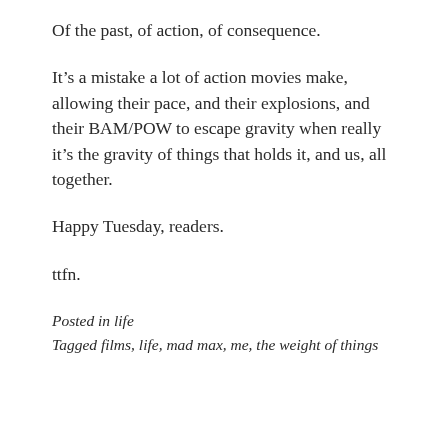Of the past, of action, of consequence.
It’s a mistake a lot of action movies make, allowing their pace, and their explosions, and their BAM/POW to escape gravity when really it’s the gravity of things that holds it, and us, all together.
Happy Tuesday, readers.
ttfn.
Posted in life
Tagged films, life, mad max, me, the weight of things